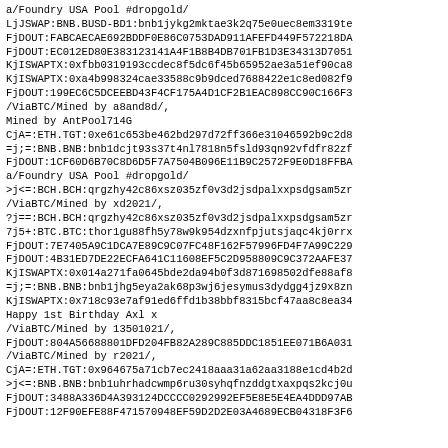a/Foundry USA Pool #dropgold/
LjJSWAP:BNB.BUSD-BD1:bnb1jykg2mktae3k2q75e0uec8em3319te
FjDOUT:FABCAECAE692BDDF0E86C0753DAD911AFEFD449F572218DA
FjDOUT:EC012ED80E383123141A4F1B8B4DB701FB1D3E34313D7051
KjISWAPTX:0xfbb0319193ccdec8f5dc6f45b65952ae3a51ef90ca8
KjISWAPTX:0xa4b998324cae33588c9b9dced7688422e1c8ed082f9
FjDOUT:199EC6C5DCEEBD43F4CF175A4D1CF2B1EAC898CC90C166F3
/ViaBTC/Mined by a8and8d/,
Mined by AntPool714G
CjA=:ETH.TGT:0xe61c653be462bd297d72ff366e31046592b9c2d8
=j;=:BNB.BNB:bnb1dcjt93s37t4nl7818n5fsld93qn92vfdfr82zf
FjDOUT:1CF60D6B70C8D6D5F7A7504B096E11B9C2572F9E0D18FFBA
a/Foundry USA Pool #dropgold/
>j<=:BCH.BCH:qrgzhy42c86xsz035zf0v3d2jsdpalxxpsdgsam5zr
/ViaBTC/Mined by xd2021/,
?j==:BCH.BCH:qrgzhy42c86xsz035zf0v3d2jsdpalxxpsdgsam5zr
7j5+:BTC.BTC:thor1gu88fh5y78w9k954dzxnfpjutsjaqc4kj0rrx
FjDOUT:7E7405A9C1DCA7E89C9C07FC48F162F57996FD4F7A99C229
FjDOUT:4B31ED7DE22ECFA641C11608EF5C2D958809C9C372AAFE37
KjISWAPTX:0x014a271fa0645bde2da94b0f3d871698502dfe88af8
=j;=:BNB.BNB:bnb1jhg5eya2ak68p3wj6jesymus3dydgg4jz9x8zn
KjISWAPTX:0x718c93e7af91ed6ffd1b38bbf8315bcf47aa8c8ea34
Happy 1st Birthday Axl x
/ViaBTC/Mined by 13501021/,
FjDOUT:804A56688801DFD204FB82A289C885DDC1851EE071B6A031
/ViaBTC/Mined by r2021/,
CjA=:ETH.TGT:0x964675a71cb7ec2418aaa31a62aa3188e1cd4b2d
>j<=:BNB.BNB:bnb1uhrhadcwmp6ru30syhqfnzddgtxaxpqs2kcj0u
FjDOUT:3488A336D4A393124DCCCC0292992EF5E8E5E4EA4DDD97AB
FjDOUT:12F90EFE88F471570948EF59D2D2E03A4689ECB04318F3F6